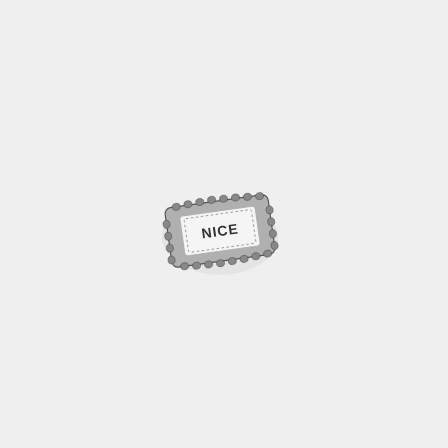[Figure (photo): A small silver metal charm or badge shaped like a rectangular biscuit/cookie with a decorative crimped border and dotted line detail. The center has a white enamel panel with the word 'NICE' embossed in capital letters.]